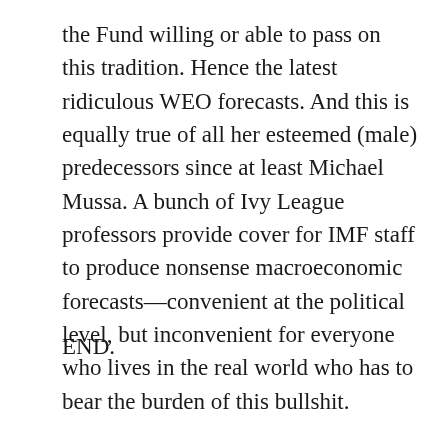the Fund willing or able to pass on this tradition. Hence the latest ridiculous WEO forecasts. And this is equally true of all her esteemed (male) predecessors since at least Michael Mussa. A bunch of Ivy League professors provide cover for IMF staff to produce nonsense macroeconomic forecasts—convenient at the political level, but inconvenient for everyone who lives in the real world who has to bear the burden of this bullshit.
END.